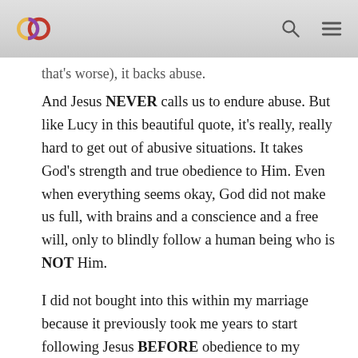[Logo] [Search icon] [Menu icon]
that's worse), it backs abuse.
And Jesus NEVER calls us to endure abuse. But like Lucy in this beautiful quote, it's really, really hard to get out of abusive situations. It takes God's strength and true obedience to Him. Even when everything seems okay, God did not make us full, with brains and a conscience and a free will, only to blindly follow a human being who is NOT Him.
I did not bought into this within my marriage because it previously took me years to start following Jesus BEFORE obedience to my parents.
By the way, have you adressed that issue